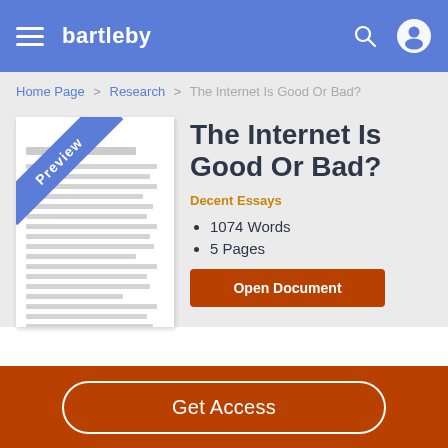bartleby
Home Page > Research > The Internet Is Good Or Bad?
[Figure (illustration): Preview thumbnail of a document page with a diagonal blue banner labeled 'Preview']
The Internet Is Good Or Bad?
Decent Essays
1074 Words
5 Pages
Open Document
Get Access